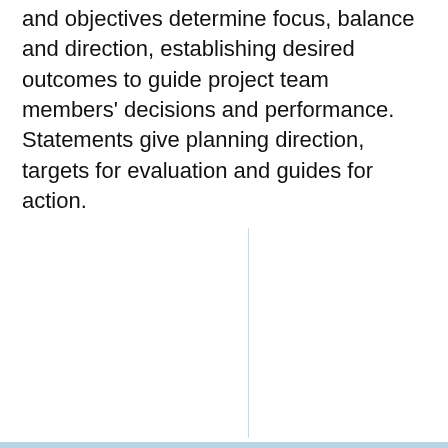and objectives determine focus, balance and direction, establishing desired outcomes to guide project team members' decisions and performance. Statements give planning direction, targets for evaluation and guides for action.